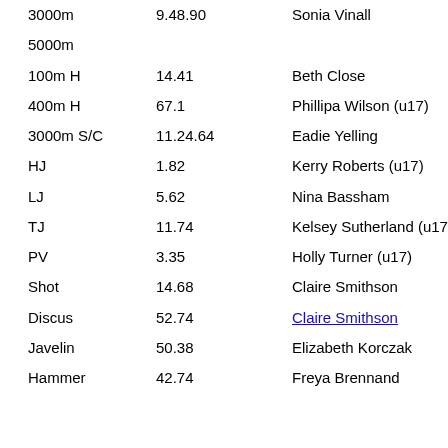| Event | Performance | Athlete | Year |
| --- | --- | --- | --- |
| 3000m | 9.48.90 | Sonia Vinall | 82 |
| 5000m |  |  |  |
| 100m H | 14.41 | Beth Close | 13 |
| 400m H | 67.1 | Phillipa Wilson (u17) | 09 |
| 3000m S/C | 11.24.64 | Eadie Yelling | 22 |
| HJ | 1.82 | Kerry Roberts (u17) | 83 |
| LJ | 5.62 | Nina Bassham | 12 |
| TJ | 11.74 | Kelsey Sutherland (u17) | 18 |
| PV | 3.35 | Holly Turner (u17) | 12 |
| Shot | 14.68 | Claire Smithson | 01 |
| Discus | 52.74 | Claire Smithson | 01 |
| Javelin | 50.38 | Elizabeth Korczak | 21 |
| Hammer | 42.74 | Freya Brennand | 21 |